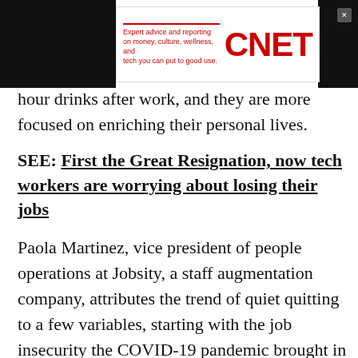[Figure (logo): CNET advertisement banner with tagline 'Expert advice and reporting on money, culture, wellness, and tech you can put to good use.' and red CNET logo]
hour drinks after work, and they are more focused on enriching their personal lives.
SEE: First the Great Resignation, now tech workers are worrying about losing their jobs
Paola Martinez, vice president of people operations at Jobsity, a staff augmentation company, attributes the trend of quiet quitting to a few variables, starting with the job insecurity the COVID-19 pandemic brought in 2020. Workers felt unprotected by their employers and sought out better opportunities during the peak of The Great Resignation in 2021.